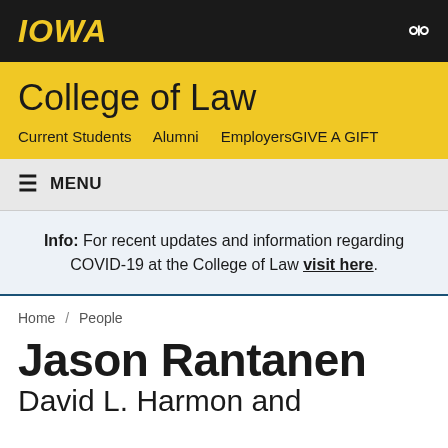IOWA
College of Law
Current Students   Alumni   EmployersGIVE A GIFT
≡ MENU
Info: For recent updates and information regarding COVID-19 at the College of Law visit here.
Home / People
Jason Rantanen
David L. Harmon and